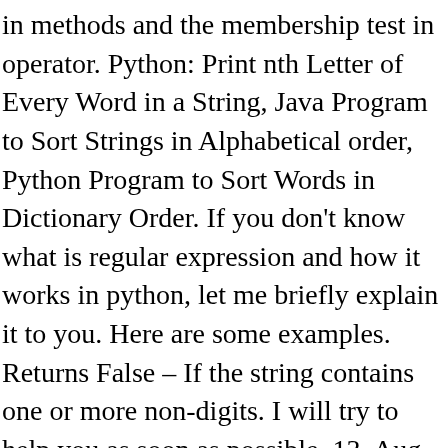in methods and the membership test in operator. Python: Print nth Letter of Every Word in a String, Java Program to Sort Strings in Alphabetical order, Python Program to Sort Words in Dictionary Order. If you don't know what is regular expression and how it works in python, let me briefly explain it to you. Here are some examples. Returns False – If the string contains one or more non-digits. I will try to help you as soon as possible. 13, Aug 20. I have also shared How To Find Substring and Character into String.I have